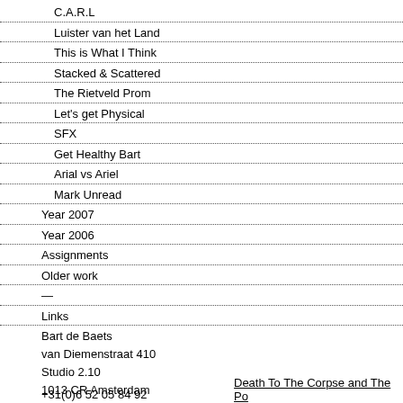C.A.R.L
Luister van het Land
This is What I Think
Stacked & Scattered
The Rietveld Prom
Let's get Physical
SFX
Get Healthy Bart
Arial vs Ariel
Mark Unread
Year 2007
Year 2006
Assignments
Older work
—
Links
Bart de Baets
van Diemenstraat 410
Studio 2.10
1013 CR Amsterdam
The Netherlands
+31(0)6 52 05 84 92
Death To The Corpse and The Po